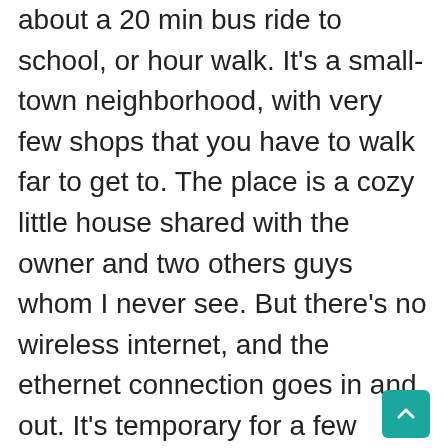about a 20 min bus ride to school, or hour walk. It's a small-town neighborhood, with very few shops that you have to walk far to get to. The place is a cozy little house shared with the owner and two others guys whom I never see. But there's no wireless internet, and the ethernet connection goes in and out. It's temporary for a few weeks until I can find someplace closer to campus, and with real internet.

I'm finally enrolled in school, and really excited to start my classes. I'm taking Approaches to International Relations; Global Civil Society; State and the Economy; and Armed Conflict & Human Security. All these are two semester classes, so